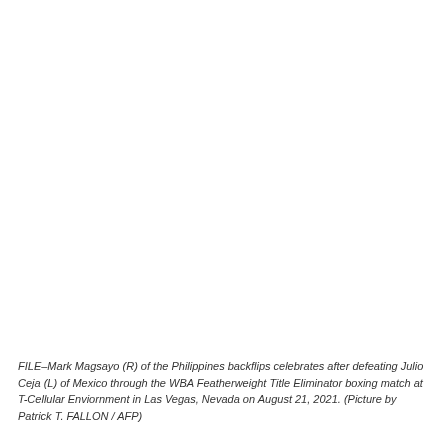[Figure (photo): A blank/white image area occupying the upper portion of the page, representing a photo placeholder.]
FILE–Mark Magsayo (R) of the Philippines backflips celebrates after defeating Julio Ceja (L) of Mexico through the WBA Featherweight Title Eliminator boxing match at T-Cellular Enviornment in Las Vegas, Nevada on August 21, 2021. (Picture by Patrick T. FALLON / AFP)